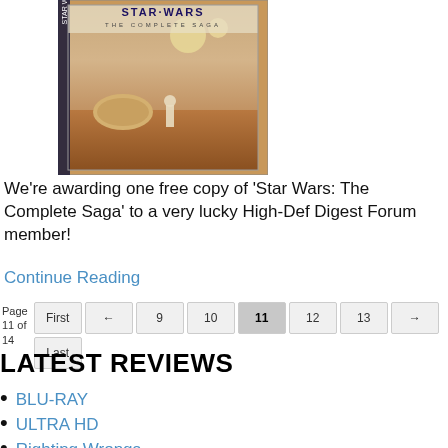[Figure (photo): Star Wars: The Complete Saga Blu-ray box set product image showing desert landscape with two moons and figure in robe]
We're awarding one free copy of 'Star Wars: The Complete Saga' to a very lucky High-Def Digest Forum member!
Continue Reading
Page 11 of 14  First ← 9 10 11 12 13 → Last
LATEST REVIEWS
BLU-RAY
ULTRA HD
Righting Wrongs
4.5 Stars